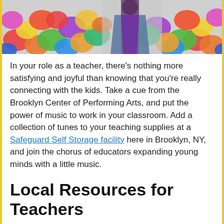[Figure (photo): Colorful classroom scene with bright fabric/cushions in the foreground and a teacher figure standing in the background]
In your role as a teacher, there's nothing more satisfying and joyful than knowing that you're really connecting with the kids. Take a cue from the Brooklyn Center of Performing Arts, and put the power of music to work in your classroom. Add a collection of tunes to your teaching supplies at a Safeguard Self Storage facility here in Brooklyn, NY, and join the chorus of educators expanding young minds with a little music.
Local Resources for Teachers
Children and music have always been natural partners. Educators recognize that bringing songs into the classroom plays on that wonderful relationship. This isn't a new concept, but it's quickly moving from